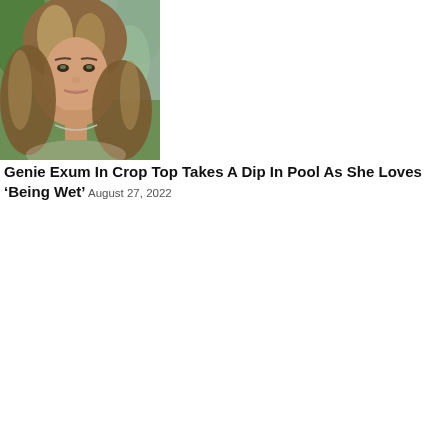[Figure (photo): Close-up photo of a young woman with long wavy highlighted brown hair, wearing a necklace, smiling, with green tropical foliage in the background.]
Genie Exum In Crop Top Takes A Dip In Pool As She Loves ‘Being Wet’ August 27, 2022